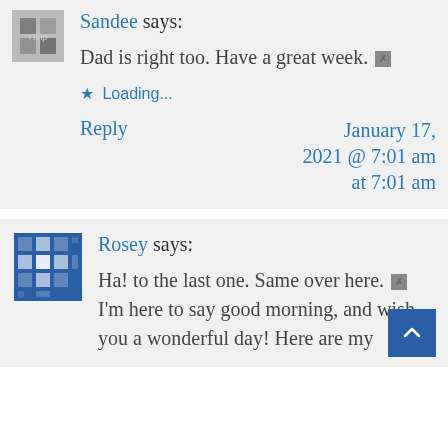Sandee says:
Dad is right too. Have a great week. [emoji] Loading...
Reply
January 17, 2021 @ 7:01 am at 7:01 am
Rosey says:
Ha! to the last one. Same over here. [emoji] I'm here to say good morning, and wish you a wonderful day! Here are my